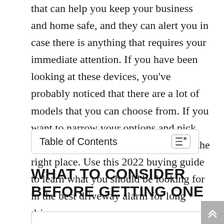that can help you keep your business and home safe, and they can alert you in case there is anything that requires your immediate attention. If you have been looking at these devices, you've probably noticed that there are a lot of models that you can choose from. If you want to narrow your options and pick the right one for you, you've come to the right place. Use this 2022 buying guide to learn what you should be looking for in the best driveway alarm for long driveways.
Table of Contents
WHAT TO CONSIDER BEFORE GETTING ONE